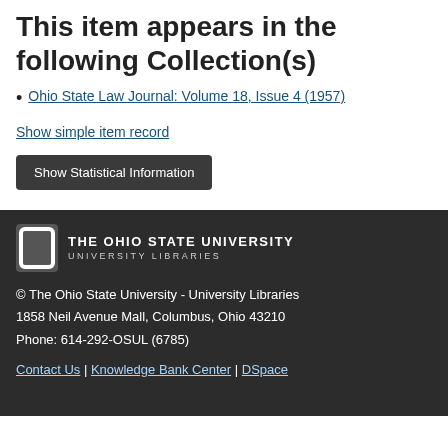This item appears in the following Collection(s)
Ohio State Law Journal: Volume 18, Issue 4 (1957)
Show simple item record
Show Statistical Information
© The Ohio State University - University Libraries
1858 Neil Avenue Mall, Columbus, Ohio 43210
Phone: 614-292-OSUL (6785)

Contact Us | Knowledge Bank Center | DSpace